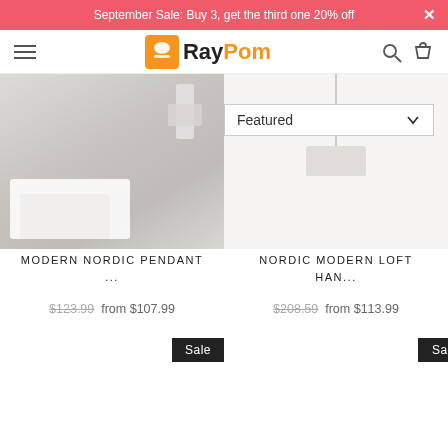September Sale: Buy 3, get the third one 20% off
[Figure (logo): RayPom logo with orange icon and bold text]
Featured dropdown sort selector
[Figure (photo): Bedroom scene with white bedding and minimalist Nordic pendant lamp]
MODERN NORDIC PENDANT ...
$123.99  from $107.99
[Figure (photo): Nordic modern loft hanging lamp product image]
NORDIC MODERN LOFT HAN...
$208.59  from $113.99